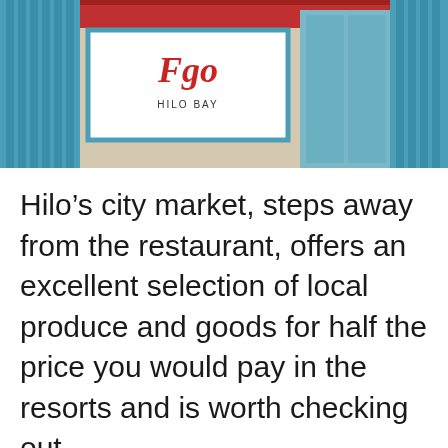[Figure (photo): Storefront photo showing a restaurant sign reading 'Hilo Bay' with red cursive script lettering, teal/blue window frames and decorative elements]
Hilo’s city market, steps away from the restaurant, offers an excellent selection of local produce and goods for half the price you would pay in the resorts and is worth checking out.
[Figure (photo): Landscape photograph showing a volcanic eruption plume of white smoke rising dramatically into a blue sky with scattered clouds, above a wide crater and volcanic landscape with green trees in the foreground]